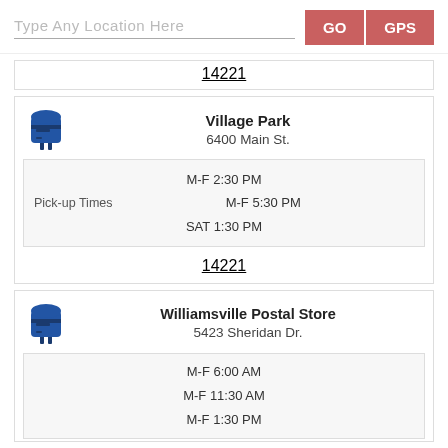[Figure (screenshot): Search bar with placeholder 'Type Any Location Here', and two buttons: GO and GPS in red/salmon color]
14221
Village Park
6400 Main St.
Pick-up Times  M-F 2:30 PM  M-F 5:30 PM  SAT 1:30 PM
14221
Williamsville Postal Store
5423 Sheridan Dr.
M-F 6:00 AM  M-F 11:30 AM  M-F 1:30 PM